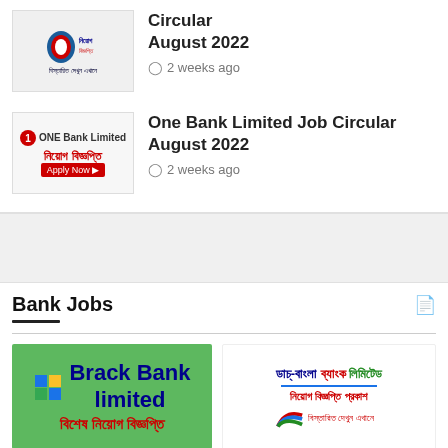[Figure (photo): Thumbnail for Bangla Bank job circular with Bengali text]
Circular August 2022
2 weeks ago
[Figure (photo): ONE Bank Limited thumbnail with Bengali text and Apply Now button]
One Bank Limited Job Circular August 2022
2 weeks ago
Bank Jobs
[Figure (photo): Brack Bank Limited green card with Bengali text বিশেষ নিয়োগ বিজ্ঞপ্তি]
[Figure (photo): Dutch Bangla Bank Limited card with Bengali text নিয়োগ বিজ্ঞপ্তি প্রকাশ]